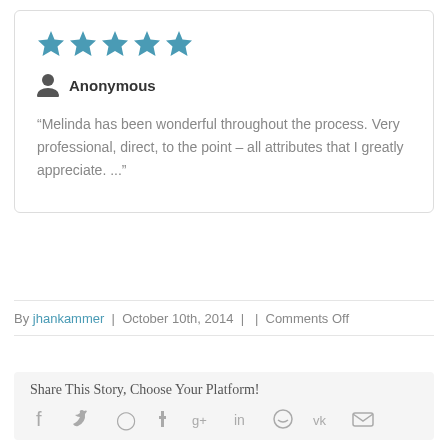[Figure (other): Five teal star icons representing a 5-star rating]
Anonymous
“Melinda has been wonderful throughout the process. Very professional, direct, to the point – all attributes that I greatly appreciate. ...”
By jhankammer | October 10th, 2014 | | Comments Off
Share This Story, Choose Your Platform!
[Figure (other): Social media share icons: Facebook, Twitter, Pinterest, Tumblr, Google+, LinkedIn, Reddit, VK, Email]